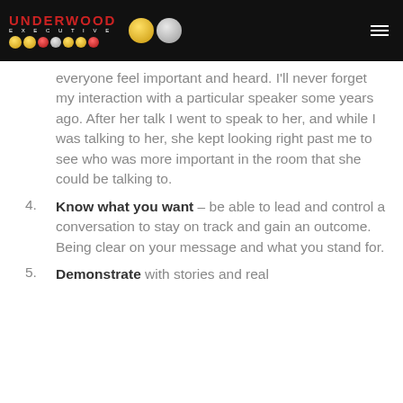[Figure (logo): Underwood Executive logo with red text and medal badges on black header bar]
everyone feel important and heard.  I'll never forget my interaction with a particular speaker some years ago. After her talk I went to speak to her, and while I was talking to her, she kept looking right past me to see who was more important in the room that she could be talking to.
4. Know what you want – be able to lead and control a conversation to stay on track and gain an outcome.  Being clear on your message and what you stand for.
5. Demonstrate with stories and real